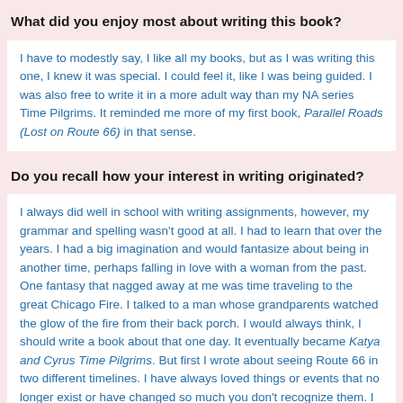What did you enjoy most about writing this book?
I have to modestly say, I like all my books, but as I was writing this one, I knew it was special. I could feel it, like I was being guided. I was also free to write it in a more adult way than my NA series Time Pilgrims. It reminded me more of my first book, Parallel Roads (Lost on Route 66) in that sense.
Do you recall how your interest in writing originated?
I always did well in school with writing assignments, however, my grammar and spelling wasn't good at all. I had to learn that over the years. I had a big imagination and would fantasize about being in another time, perhaps falling in love with a woman from the past. One fantasy that nagged away at me was time traveling to the great Chicago Fire. I talked to a man whose grandparents watched the glow of the fire from their back porch. I would always think, I should write a book about that one day. It eventually became Katya and Cyrus Time Pilgrims. But first I wrote about seeing Route 66 in two different timelines. I have always loved things or events that no longer exist or have changed so much you don't recognize them. I would love to go